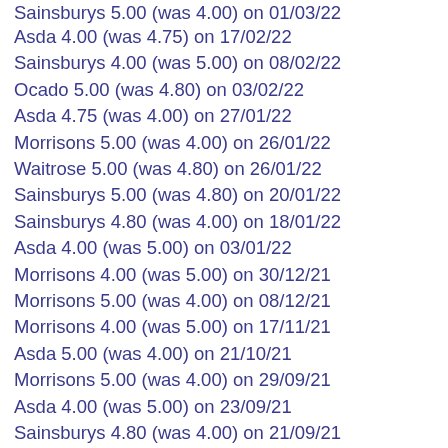Sainsburys 5.00 (was 4.00) on 01/03/22
Asda 4.00 (was 4.75) on 17/02/22
Sainsburys 4.00 (was 5.00) on 08/02/22
Ocado 5.00 (was 4.80) on 03/02/22
Asda 4.75 (was 4.00) on 27/01/22
Morrisons 5.00 (was 4.00) on 26/01/22
Waitrose 5.00 (was 4.80) on 26/01/22
Sainsburys 5.00 (was 4.80) on 20/01/22
Sainsburys 4.80 (was 4.00) on 18/01/22
Asda 4.00 (was 5.00) on 03/01/22
Morrisons 4.00 (was 5.00) on 30/12/21
Morrisons 5.00 (was 4.00) on 08/12/21
Morrisons 4.00 (was 5.00) on 17/11/21
Asda 5.00 (was 4.00) on 21/10/21
Morrisons 5.00 (was 4.00) on 29/09/21
Asda 4.00 (was 5.00) on 23/09/21
Sainsburys 4.80 (was 4.00) on 21/09/21
Morrisons 4.00 (was 5.00) on 02/09/21
Asda 5.00 (was 4.00) on 26/08/21
Asda 4.00 (was 4.79) on 29/07/21
Ocado 4.80 (was 3.50) on 30/06/21
Sainsburys 4.80 (was 3.50) on 15/06/21